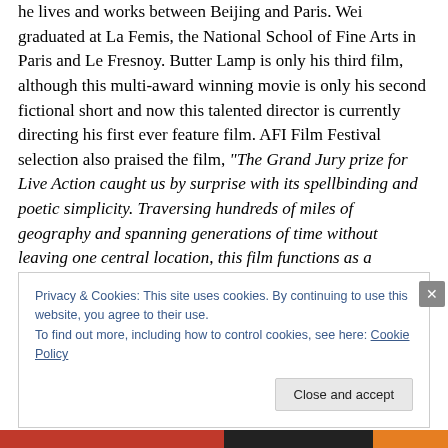he lives and works between Beijing and Paris. Wei graduated at La Femis, the National School of Fine Arts in Paris and Le Fresnoy. Butter Lamp is only his third film, although this multi-award winning movie is only his second fictional short and now this talented director is currently directing his first ever feature film. AFI Film Festival selection also praised the film, “The Grand Jury prize for Live Action caught us by surprise with its spellbinding and poetic simplicity. Traversing hundreds of miles of geography and spanning generations of time without leaving one central location, this film functions as a
Privacy & Cookies: This site uses cookies. By continuing to use this website, you agree to their use.
To find out more, including how to control cookies, see here: Cookie Policy
Close and accept